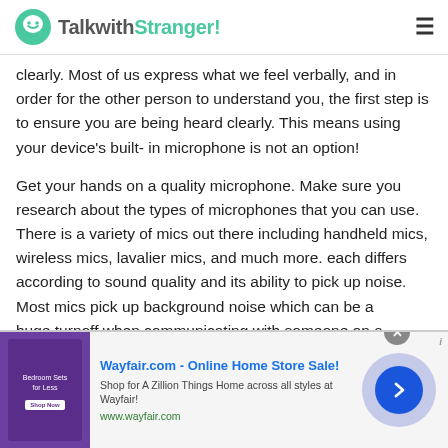TalkwithStranger!
clearly. Most of us express what we feel verbally, and in order for the other person to understand you, the first step is to ensure you are being heard clearly. This means using your device's built- in microphone is not an option!

Get your hands on a quality microphone. Make sure you research about the types of microphones that you can use. There is a variety of mics out there including handheld mics, wireless mics, lavalier mics, and much more. each differs according to sound quality and its ability to pick up noise. Most mics pick up background noise which can be a huge turnoff when communicating with someone on a
[Figure (screenshot): Advertisement banner for Wayfair.com - Online Home Store Sale! with purple bedroom furniture image, ad text, and navigation arrow button]